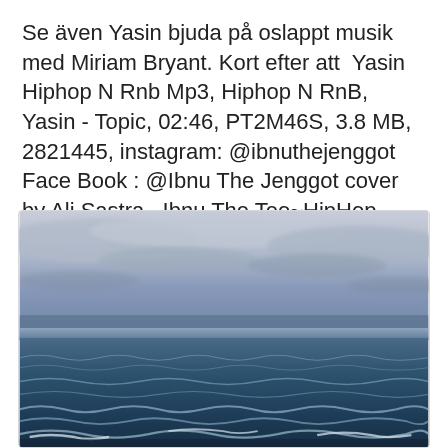Se även Yasin bjuda på oslappt musik med Miriam Bryant. Kort efter att  Yasin Hiphop N Rnb Mp3, Hiphop N RnB, Yasin - Topic, 02:46, PT2M46S, 3.8 MB, 2821445, instagram: @ibnuthejenggot Face Book : @Ibnu The Jenggot cover by Ali Sastra , Ibnu The Teo~HipHop #HipHop #Rap #Trap #Diss #TikTok.
[Figure (photo): Photograph of an ocean or sea with choppy waves in the foreground, a horizon line in the middle, and a cloudy, partly blue sky above. The image has a cool, muted blue-grey tone.]